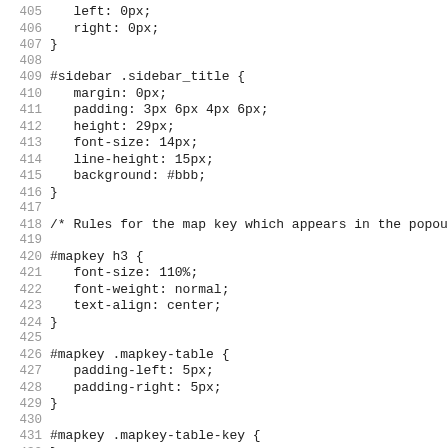Code listing lines 405-436 showing CSS rules for sidebar_title and mapkey elements
405    left: 0px;
406    right: 0px;
407 }
408
409 #sidebar .sidebar_title {
410    margin: 0px;
411    padding: 3px 6px 4px 6px;
412    height: 29px;
413    font-size: 14px;
414    line-height: 15px;
415    background: #bbb;
416 }
417
418 /* Rules for the map key which appears in the popout si
419
420 #mapkey h3 {
421    font-size: 110%;
422    font-weight: normal;
423    text-align: center;
424 }
425
426 #mapkey .mapkey-table {
427    padding-left: 5px;
428    padding-right: 5px;
429 }
430
431 #mapkey .mapkey-table-key {
432 }
433
434 #mapkey .mapkey-table-value {
435    font-size: 90%;
436 }